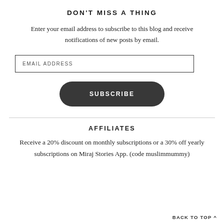DON'T MISS A THING
Enter your email address to subscribe to this blog and receive notifications of new posts by email.
EMAIL ADDRESS
SUBSCRIBE
AFFILIATES
Receive a 20% discount on monthly subscriptions or a 30% off yearly subscriptions on Miraj Stories App. (code muslimmummy)
BACK TO TOP ^